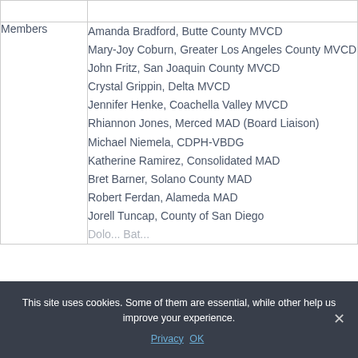|  |  |
| --- | --- |
|  |  |
| Members | Amanda Bradford, Butte County MVCD
Mary-Joy Coburn, Greater Los Angeles County MVCD
John Fritz, San Joaquin County MVCD
Crystal Grippin, Delta MVCD
Jennifer Henke, Coachella Valley MVCD
Rhiannon Jones, Merced MAD (Board Liaison)
Michael Niemela, CDPH-VBDG
Katherine Ramirez, Consolidated MAD
Bret Barner, Solano County MAD
Robert Ferdan, Alameda MAD
Jorell Tuncap, County of San Diego
[partially visible] |
This site uses cookies. Some of them are essential, while other help us improve your experience.